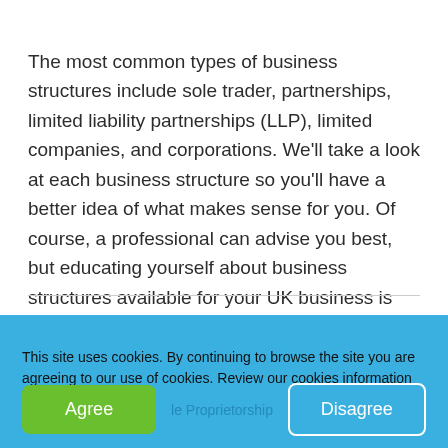The most common types of business structures include sole trader, partnerships, limited liability partnerships (LLP), limited companies, and corporations. We'll take a look at each business structure so you'll have a better idea of what makes sense for you. Of course, a professional can advise you best, but educating yourself about business structures available for your UK business is the best place to start.
CONTENTS
This site uses cookies. By continuing to browse the site you are agreeing to our use of cookies. Review our cookies information for more details.
A Quick Tour of Business Structures
Sole Proprietorship
Partnerships